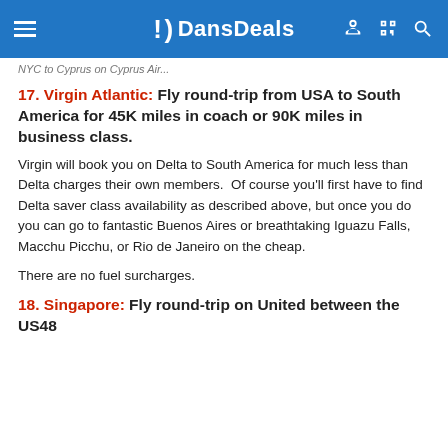DansDeals
17. Virgin Atlantic: Fly round-trip from USA to South America for 45K miles in coach or 90K miles in business class.
Virgin will book you on Delta to South America for much less than Delta charges their own members.  Of course you'll first have to find Delta saver class availability as described above, but once you do you can go to fantastic Buenos Aires or breathtaking Iguazu Falls, Macchu Picchu, or Rio de Janeiro on the cheap.
There are no fuel surcharges.
18. Singapore: Fly round-trip on United between the US48